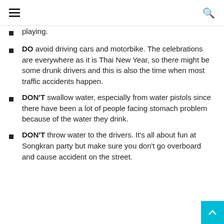☰  🔍
playing.
DO avoid driving cars and motorbike. The celebrations are everywhere as it is Thai New Year, so there might be some drunk drivers and this is also the time when most traffic accidents happen.
DON'T swallow water, especially from water pistols since there have been a lot of people facing stomach problem because of the water they drink.
DON'T throw water to the drivers. It's all about fun at Songkran party but make sure you don't go overboard and cause accident on the street.